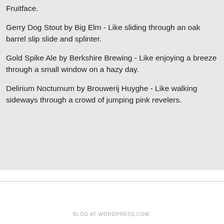Fruitface.
Gerry Dog Stout by Big Elm - Like sliding through an oak barrel slip slide and splinter.
Gold Spike Ale by Berkshire Brewing - Like enjoying a breeze through a small window on a hazy day.
Delirium Nocturnum by Brouwerij Huyghe - Like walking sideways through a crowd of jumping pink revelers.
BLOG AT WORDPRESS.COM.